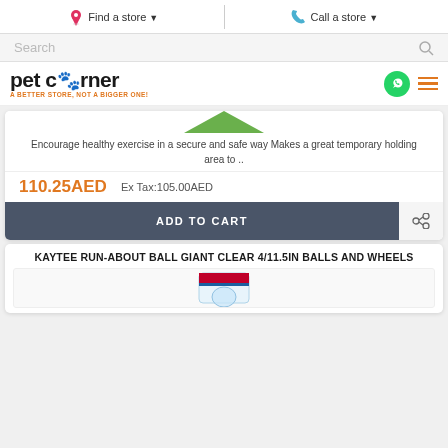Find a store | Call a store
Search
[Figure (logo): Pet Corner logo with paw print and tagline: A BETTER STORE, NOT A BIGGER ONE!]
Encourage healthy exercise in a secure and safe way Makes a great temporary holding area to ..
110.25AED  Ex Tax:105.00AED
ADD TO CART
KAYTEE RUN-ABOUT BALL GIANT CLEAR 4/11.5IN BALLS AND WHEELS
[Figure (photo): Partial product image of Kaytee Run-About Ball packaging]